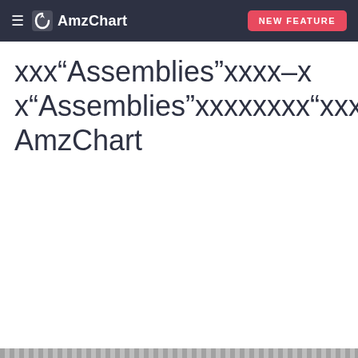≡  AmzChart   NEW FEATURE
xxx“Assemblies”xxxx–x x“Assemblies”xxxxxxxx“xxxxx”x– AmzChart
[Figure (screenshot): Orange banner advertisement for AmzChart Amazon BSR Chart Tool with search bar reading 'Discover more potential winning BSR items!']
AmzChart | Amazon BSR Chart Tool
Discover more potential winning BSR items!